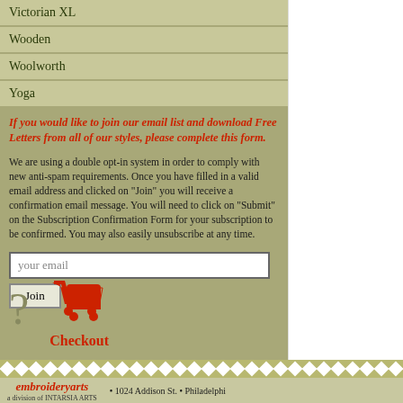Victorian XL
Wooden
Woolworth
Yoga
If you would like to join our email list and download Free Letters from all of our styles, please complete this form.
We are using a double opt-in system in order to comply with new anti-spam requirements. Once you have filled in a valid email address and clicked on "Join" you will receive a confirmation email message. You will need to click on "Submit" on the Subscription Confirmation Form for your subscription to be confirmed. You may also easily unsubscribe at any time.
Checkout
embroideryarts a division of INTARSIA ARTS • 1024 Addison St. • Philadelphi